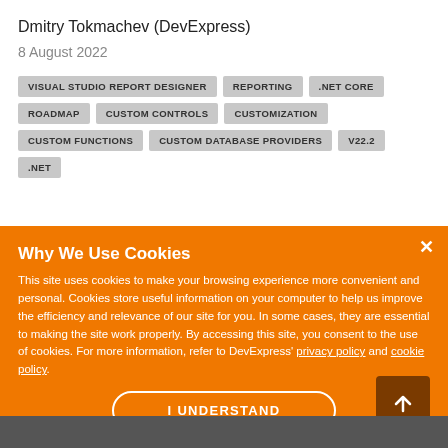Dmitry Tokmachev (DevExpress)
8 August 2022
VISUAL STUDIO REPORT DESIGNER
REPORTING
.NET CORE
ROADMAP
CUSTOM CONTROLS
CUSTOMIZATION
CUSTOM FUNCTIONS
CUSTOM DATABASE PROVIDERS
V22.2
.NET
MORE POSTS
Why We Use Cookies
This site uses cookies to make your browsing experience more convenient and personal. Cookies store useful information on your computer to help us improve the efficiency and relevance of our site for you. In some cases, they are essential to making the site work properly. By accessing this site, you consent to the use of cookies. For more information, refer to DevExpress' privacy policy and cookie policy.
I UNDERSTAND